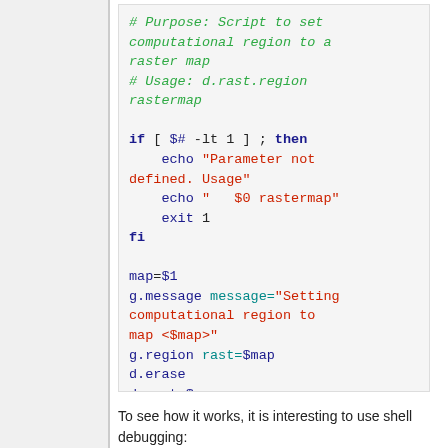# Purpose: Script to set computational region to a raster map
# Usage: d.rast.region rastermap

if [ $# -lt 1 ] ; then
    echo "Parameter not defined. Usage"
    echo "   $0 rastermap"
    exit 1
fi

map=$1
g.message message="Setting computational region to map <$map>"
g.region rast=$map
d.erase
d.rast $map
exit 0
To see how it works, it is interesting to use shell debugging: